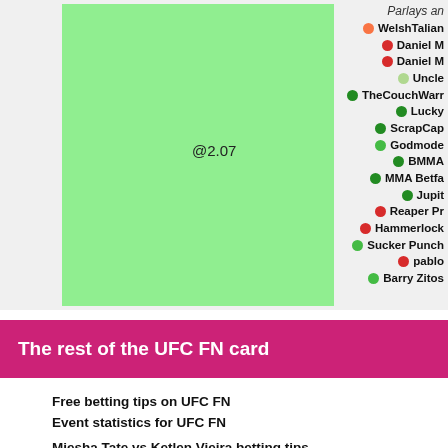[Figure (bar-chart): Bar chart showing odds @2.07 with a legend of betting tipsters including WelshTalian, Daniel M (x2), Uncle, TheCouchWarr, Lucky, ScrapCap, Godmode, BMMA, MMA Betfa, Jupit, Reaper Pr, Hammerlock, Sucker Punch, pablo, Barry Zitos]
The rest of the UFC FN card
Free betting tips on UFC FN
Event statistics for UFC FN
Miesha Tate vs Ketlen Vieira betting tips